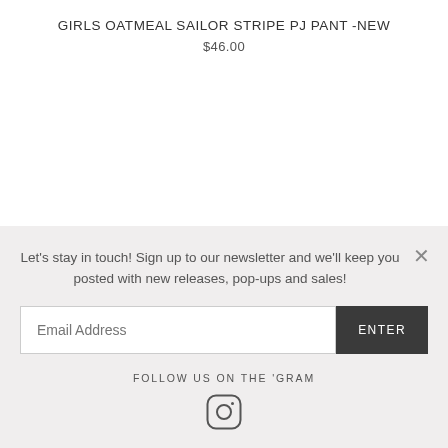GIRLS OATMEAL SAILOR STRIPE PJ PANT -NEW
$46.00
Let's stay in touch! Sign up to our newsletter and we'll keep you posted with new releases, pop-ups and sales!
Email Address
ENTER
FOLLOW US ON THE 'GRAM
[Figure (logo): Instagram logo icon]